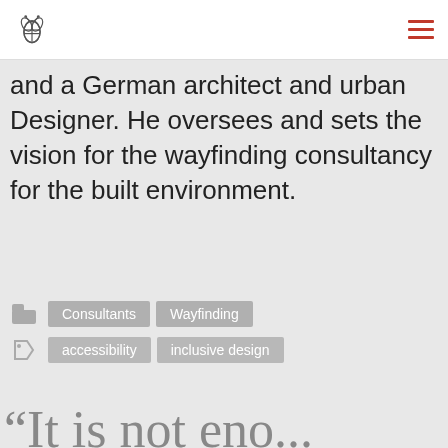and a German architect and urban Designer. He oversees and sets the vision for the wayfinding consultancy for the built environment.
Consultants  Wayfinding
accessibility  inclusive design
“It is not eno...